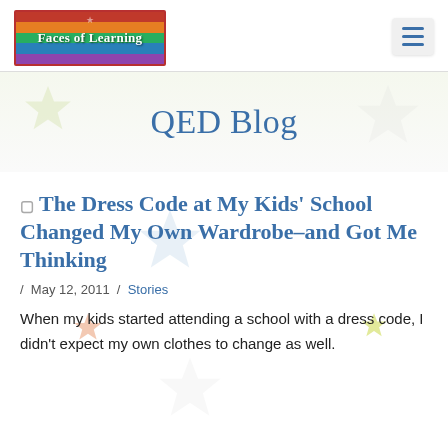Faces of Learning | QED Blog
QED Blog
The Dress Code at My Kids' School Changed My Own Wardrobe–and Got Me Thinking
/ May 12, 2011 / Stories
When my kids started attending a school with a dress code, I didn't expect my own clothes to change as well.